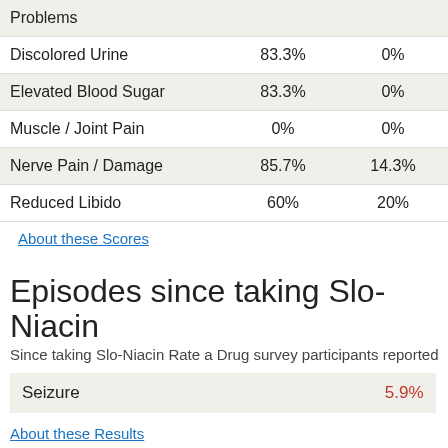| Side Effect | Col1 | Col2 |
| --- | --- | --- |
| Problems |  |  |
| Discolored Urine | 83.3% | 0% |
| Elevated Blood Sugar | 83.3% | 0% |
| Muscle / Joint Pain | 0% | 0% |
| Nerve Pain / Damage | 85.7% | 14.3% |
| Reduced Libido | 60% | 20% |
About these Scores
Episodes since taking Slo-Niacin
Since taking Slo-Niacin Rate a Drug survey participants reported
| Episode | Percentage |
| --- | --- |
| Seizure | 5.9% |
About these Results
How does your experience compare with other Slo-
Online Health Care Dispute Reso